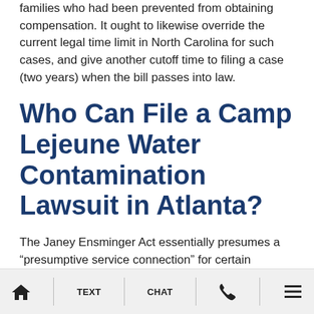families who had been prevented from obtaining compensation. It ought to likewise override the current legal time limit in North Carolina for such cases, and give another cutoff time to filing a case (two years) when the bill passes into law.
Who Can File a Camp Lejeune Water Contamination Lawsuit in Atlanta?
The Janey Ensminger Act essentially presumes a “presumptive service connection” for certain conditions and illnesses associated with the water contamination at Camp LeJeune.
HOME | TEXT | CHAT | PHONE | MENU